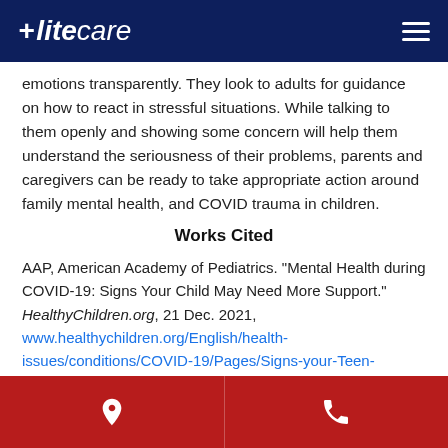EliteCare
emotions transparently. They look to adults for guidance on how to react in stressful situations. While talking to them openly and showing some concern will help them understand the seriousness of their problems, parents and caregivers can be ready to take appropriate action around family mental health, and COVID trauma in children.
Works Cited
AAP, American Academy of Pediatrics. "Mental Health during COVID-19: Signs Your Child May Need More Support." HealthyChildren.org, 21 Dec. 2021, www.healthychildren.org/English/health-issues/conditions/COVID-19/Pages/Signs-your-Teen-
Location | Phone